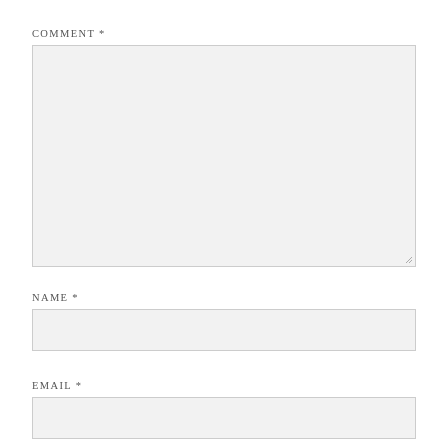COMMENT *
[Figure (other): Large textarea input field with light gray background and resize handle in bottom-right corner]
NAME *
[Figure (other): Single-line text input field with light gray background]
EMAIL *
[Figure (other): Single-line email input field with light gray background, partially visible]